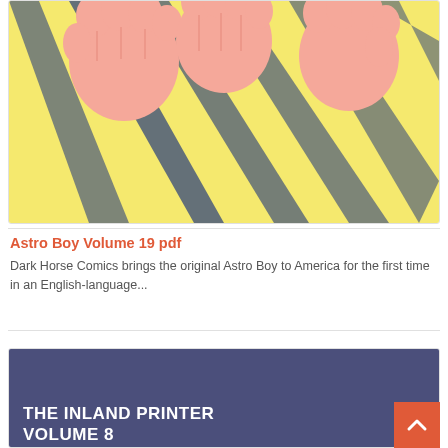[Figure (illustration): Cropped comic book cover image showing cartoon hands (Astro Boy) with yellow background and dark angular lines, from Astro Boy Volume 19]
Astro Boy Volume 19 pdf
Dark Horse Comics brings the original Astro Boy to America for the first time in an English-language...
[Figure (illustration): Dark purple/navy book cover for The Inland Printer Volume with white bold text, partially visible]
THE INLAND PRINTER
VOLUME 8